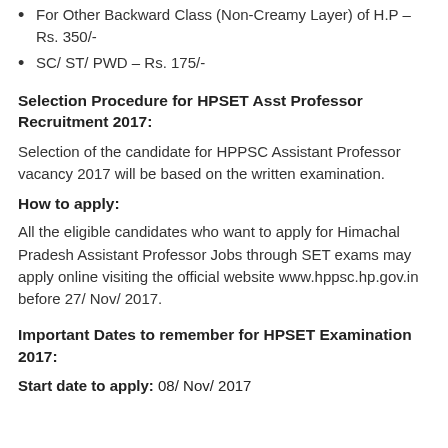For Other Backward Class (Non-Creamy Layer) of H.P – Rs. 350/-
SC/ ST/ PWD – Rs. 175/-
Selection Procedure for HPSET Asst Professor Recruitment 2017:
Selection of the candidate for HPPSC Assistant Professor vacancy 2017 will be based on the written examination.
How to apply:
All the eligible candidates who want to apply for Himachal Pradesh Assistant Professor Jobs through SET exams may apply online visiting the official website www.hppsc.hp.gov.in before 27/ Nov/ 2017.
Important Dates to remember for HPSET Examination 2017:
Start date to apply: 08/ Nov/ 2017